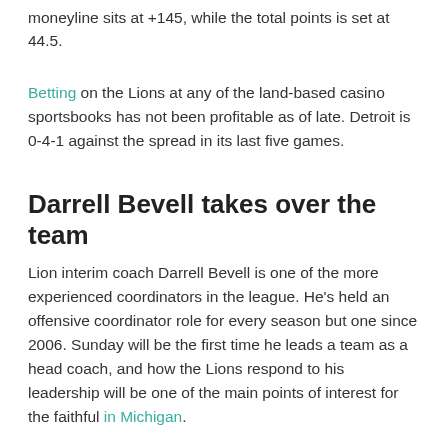moneyline sits at +145, while the total points is set at 44.5.
Betting on the Lions at any of the land-based casino sportsbooks has not been profitable as of late. Detroit is 0-4-1 against the spread in its last five games.
Darrell Bevell takes over the team
Lion interim coach Darrell Bevell is one of the more experienced coordinators in the league. He's held an offensive coordinator role for every season but one since 2006. Sunday will be the first time he leads a team as a head coach, and how the Lions respond to his leadership will be one of the main points of interest for the faithful in Michigan.
With any coaching change, there's typical talk of an offense